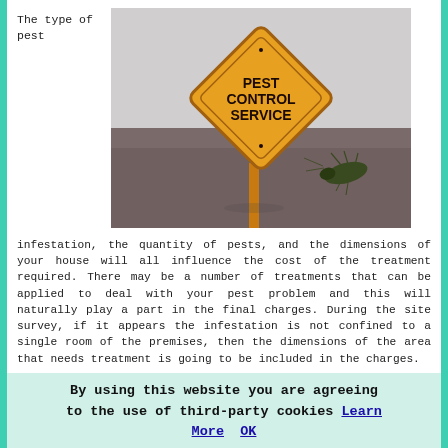The type of pest
[Figure (photo): A yellow diamond-shaped pest control service sign on a pole, with a dead cockroach lying on its back in the background on a reflective surface.]
infestation, the quantity of pests, and the dimensions of your house will all influence the cost of the treatment required. There may be a number of treatments that can be applied to deal with your pest problem and this will naturally play a part in the final charges. During the site survey, if it appears the infestation is not confined to a single room of the premises, then the dimensions of the area that needs treatment is going to be included in the charges.
During the survey the company will discuss ways in which to
By using this website you are agreeing to the use of third-party cookies Learn More  OK